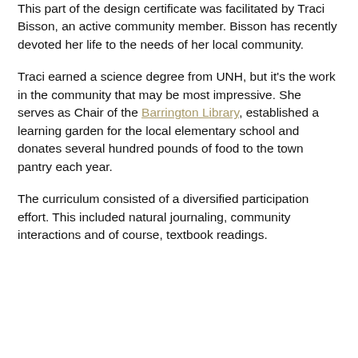This part of the design certificate was facilitated by Traci Bisson, an active community member. Bisson has recently devoted her life to the needs of her local community.
Traci earned a science degree from UNH, but it's the work in the community that may be most impressive. She serves as Chair of the Barrington Library, established a learning garden for the local elementary school and donates several hundred pounds of food to the town pantry each year.
The curriculum consisted of a diversified participation effort. This included natural journaling, community interactions and of course, textbook readings.